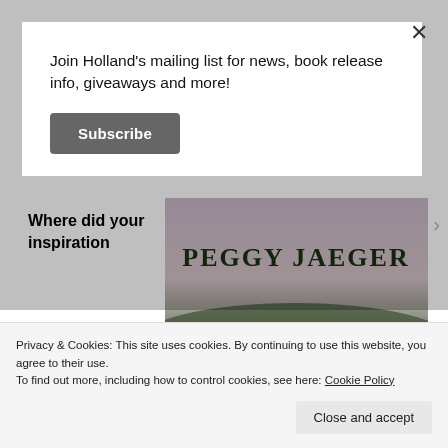Join Holland's mailing list for news, book release info, giveaways and more!
Subscribe
Pallet!
[Figure (illustration): Peggy Jaeger author name banner with dark green serif text on a misty landscape background]
Where did your inspiration
Privacy & Cookies: This site uses cookies. By continuing to use this website, you agree to their use.
To find out more, including how to control cookies, see here: Cookie Policy
Close and accept